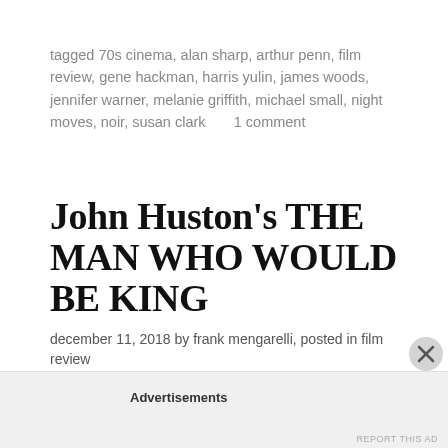tagged 70s cinema, alan sharp, arthur penn, film review, gene hackman, harris yulin, james woods, jennifer warner, melanie griffith, michael small, night moves, noir, susan clark      1 comment
John Huston's THE MAN WHO WOULD BE KING
december 11, 2018 by frank mengarelli, posted in film review
[Figure (photo): Dark film still from The Man Who Would Be King showing a figure wearing an ornate golden crown]
Advertisements